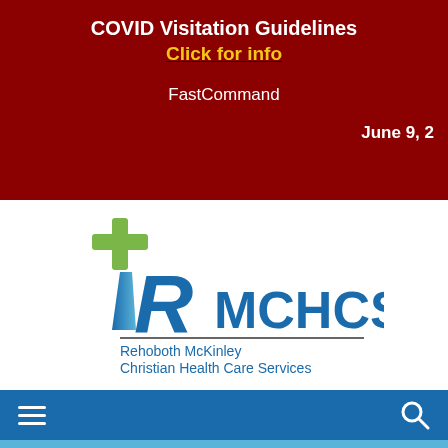COVID Visitation Guidelines
Click for info

FastCommand

June 9, 2
[Figure (logo): IRMCHCS logo with green cross, stylized blue iR letters, MCHCS text, horizontal rule, and tagline 'Rehoboth McKinley Christian Health Care Services']
Rehoboth McKinley Christian Health Care Services